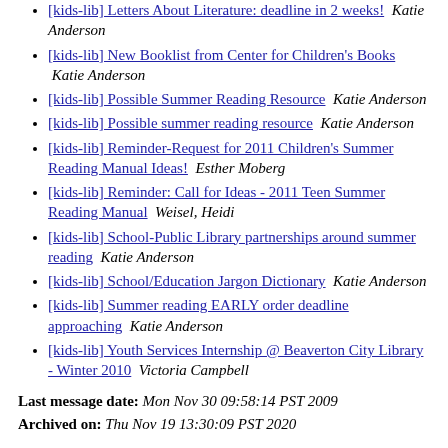[kids-lib] Letters About Literature: deadline in 2 weeks!  Katie Anderson
[kids-lib] New Booklist from Center for Children's Books  Katie Anderson
[kids-lib] Possible Summer Reading Resource  Katie Anderson
[kids-lib] Possible summer reading resource  Katie Anderson
[kids-lib] Reminder-Request for 2011 Children's Summer Reading Manual Ideas!  Esther Moberg
[kids-lib] Reminder: Call for Ideas - 2011 Teen Summer Reading Manual  Weisel, Heidi
[kids-lib] School-Public Library partnerships around summer reading  Katie Anderson
[kids-lib] School/Education Jargon Dictionary  Katie Anderson
[kids-lib] Summer reading EARLY order deadline approaching  Katie Anderson
[kids-lib] Youth Services Internship @ Beaverton City Library - Winter 2010  Victoria Campbell
Last message date: Mon Nov 30 09:58:14 PST 2009
Archived on: Thu Nov 19 13:30:09 PST 2020
Messages sorted by: [ thread ] [ author ] [ date ]